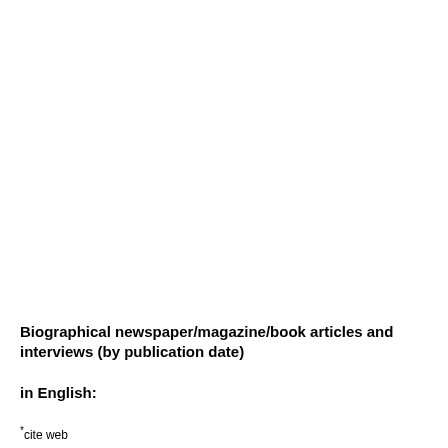Biographical newspaper/magazine/book articles and interviews (by publication date)
in English:
*cite web